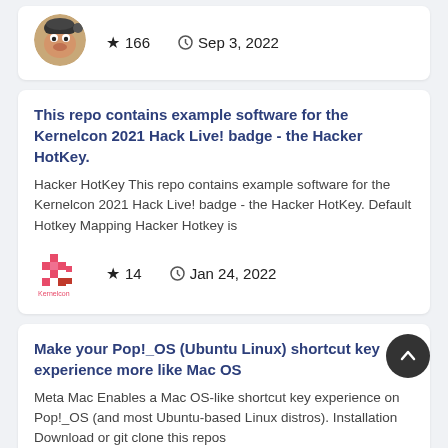[Figure (photo): Circular avatar image of a dog/shiba inu with a hat]
★ 166   🕐 Sep 3, 2022
This repo contains example software for the Kernelcon 2021 Hack Live! badge - the Hacker HotKey.
Hacker HotKey This repo contains example software for the Kernelcon 2021 Hack Live! badge - the Hacker HotKey. Default Hotkey Mapping Hacker Hotkey is
[Figure (logo): Pixel art logo icon in red/pink colors]
★ 14   🕐 Jan 24, 2022
Make your Pop!_OS (Ubuntu Linux) shortcut key experience more like Mac OS
Meta Mac Enables a Mac OS-like shortcut key experience on Pop!_OS (and most Ubuntu-based Linux distros). Installation Download or git clone this repos
[Figure (photo): Circular avatar image of a person (partially visible at bottom)]